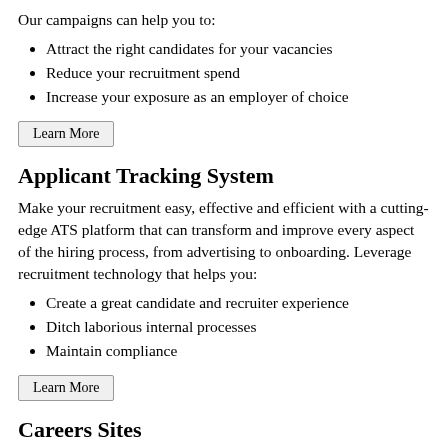Our campaigns can help you to:
Attract the right candidates for your vacancies
Reduce your recruitment spend
Increase your exposure as an employer of choice
Learn More
Applicant Tracking System
Make your recruitment easy, effective and efficient with a cutting-edge ATS platform that can transform and improve every aspect of the hiring process, from advertising to onboarding. Leverage recruitment technology that helps you:
Create a great candidate and recruiter experience
Ditch laborious internal processes
Maintain compliance
Learn More
Careers Sites
Make a brilliant first impression with a careers site that reflects the best of your business. Attract top-tier candidates with a suite of site